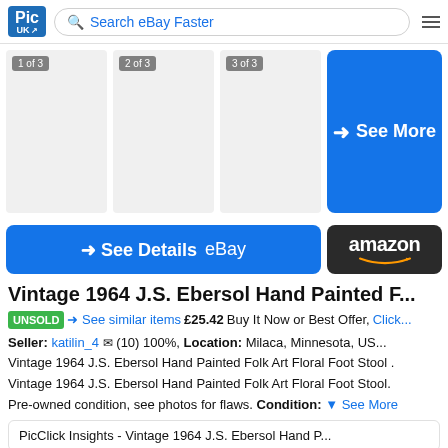Pic UK | Search eBay Faster
[Figure (other): Image thumbnail gallery showing 3 placeholder images labeled 1 of 3, 2 of 3, 3 of 3, and a blue See More button]
→ See Details eBay | amazon
Vintage 1964 J.S. Ebersol Hand Painted F...
UNSOLD → See similar items £25.42 Buy It Now or Best Offer, Click...
Seller: katilin_4 ✉ (10) 100%, Location: Milaca, Minnesota, US...
Vintage 1964 J.S. Ebersol Hand Painted Folk Art Floral Foot Stool . Vintage 1964 J.S. Ebersol Hand Painted Folk Art Floral Foot Stool. Pre-owned condition, see photos for flaws. Condition: ▾ See More
PicClick Insights - Vintage 1964 J.S. Ebersol Hand P...